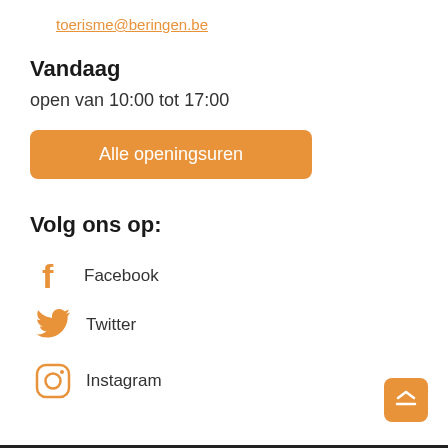toerisme@beringen.be
Vandaag
open van 10:00 tot 17:00
Alle openingsuren
Volg ons op:
Facebook
Twitter
Instagram